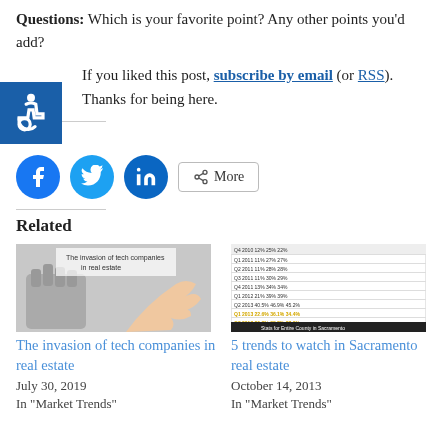Questions: Which is your favorite point? Any other points you'd add?
If you liked this post, subscribe by email (or RSS). Thanks for being here.
Share:
[Figure (infographic): Social share buttons: Facebook (blue circle), Twitter (light blue circle), LinkedIn (dark blue circle), and a More button with share icon]
Related
[Figure (photo): Image of a robotic hand and human hand touching, with text: The invasion of tech companies in real estate]
The invasion of tech companies in real estate
July 30, 2019
In "Market Trends"
[Figure (table-as-image): Screenshot of a data table showing Sacramento real estate market statistics by quarter]
5 trends to watch in Sacramento real estate
October 14, 2013
In "Market Trends"